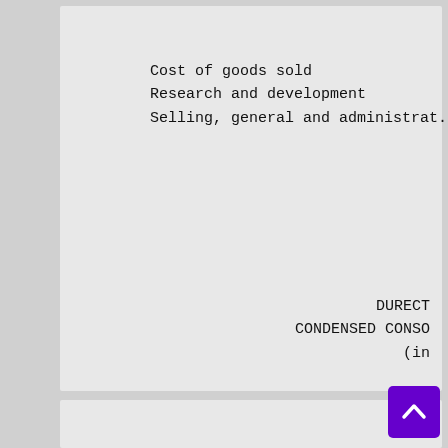Cost of goods sold
Research and development
Selling, general and administrat.
DURECT
CONDENSED CONSO
(in
[Figure (other): Scroll-to-top navigation button with upward arrow, purple background]